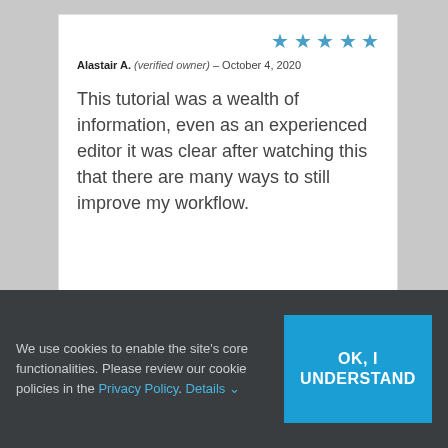★★★★★ Alastair A. (verified owner) – October 4, 2020
This tutorial was a wealth of information, even as an experienced editor it was clear after watching this that there are many ways to still improve my workflow.
[Figure (other): Partial second review card with 5 star rating, partially visible]
We use cookies to enable the site's core functionalities. Please review our cookie policies in the Privacy Policy. Details ∨
OK, I UNDERSTAND